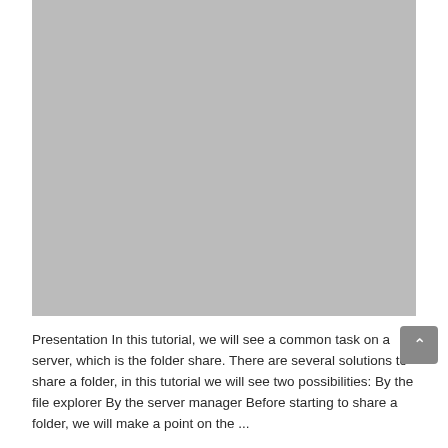[Figure (screenshot): A large gray placeholder image or screenshot area occupying the top portion of the page.]
Presentation In this tutorial, we will see a common task on a server, which is the folder share. There are several solutions to share a folder, in this tutorial we will see two possibilities: By the file explorer By the server manager Before starting to share a folder, we will make a point on the ...